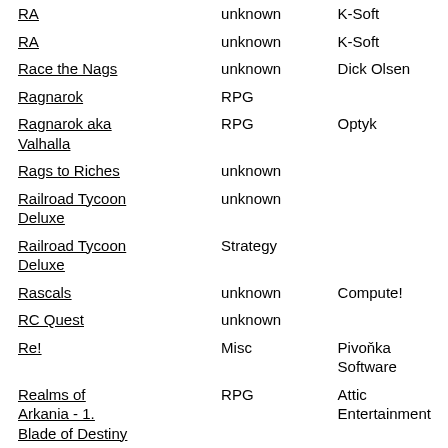| Title | Genre | Publisher |
| --- | --- | --- |
| RA | unknown | K-Soft |
| RA | unknown | K-Soft |
| Race the Nags | unknown | Dick Olsen |
| Ragnarok | RPG |  |
| Ragnarok aka Valhalla | RPG | Optyk |
| Rags to Riches | unknown |  |
| Railroad Tycoon Deluxe | unknown |  |
| Railroad Tycoon Deluxe | Strategy |  |
| Rascals | unknown | Compute! |
| RC Quest | unknown |  |
| Re! | Misc | Pivoňka Software |
| Realms of Arkania - 1. Blade of Destiny | RPG | Attic Entertainment |